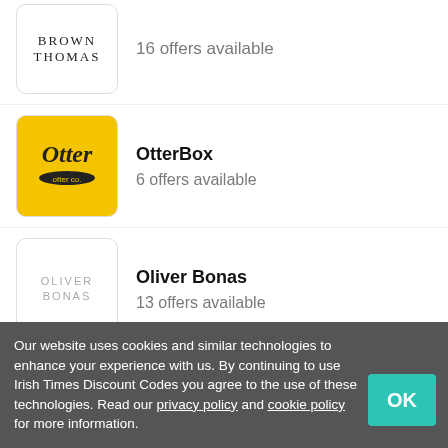Brown Thomas — 16 offers available
OtterBox — 6 offers available
Oliver Bonas — 13 offers available
Phase Eight — 11 offers available
Garmin
Our website uses cookies and similar technologies to enhance your experience with us. By continuing to use Irish Times Discount Codes you agree to the use of these technologies. Read our privacy policy and cookie policy for more information.